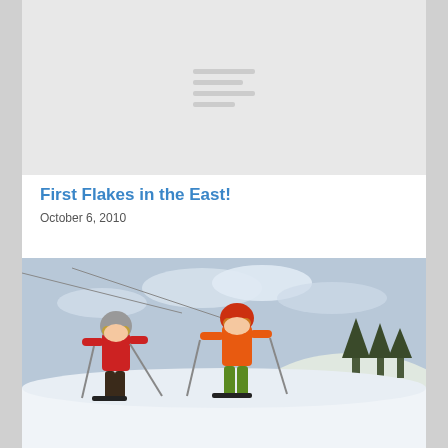[Figure (photo): Gray placeholder header image with horizontal menu/navigation lines centered]
First Flakes in the East!
October 6, 2010
[Figure (photo): Two young children in ski gear (helmets, goggles, colorful jackets) skiing on a snowy slope with ski lift and trees in background]